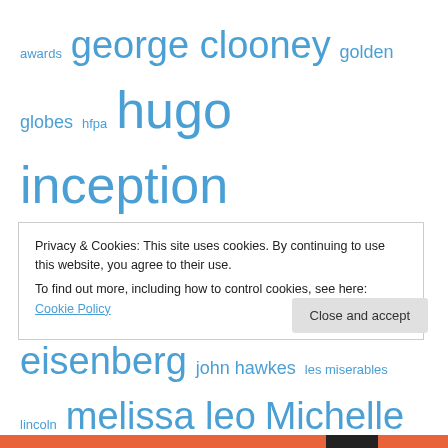[Figure (infographic): A tag cloud of movie and entertainment related terms in various font sizes, all in blue. Terms include: awards, george clooney, golden globes, hfpa, hugo, inception, inside job, james franco, jeff bridges, jennifer lawrence, jesse eisenberg, john hawkes, les miserables, lincoln, melissa leo, Michelle Williams, midnight in paris, moneyball, movie, natalie portman, new, nominations, Oscar, oscars, poster, predictions, review, Ryan Gosling, steven spielberg, the artist, the dark knight rises, the descendants, the edge of the frame, the fighter, and more.]
Privacy & Cookies: This site uses cookies. By continuing to use this website, you agree to their use. To find out more, including how to control cookies, see here: Cookie Policy
Close and accept